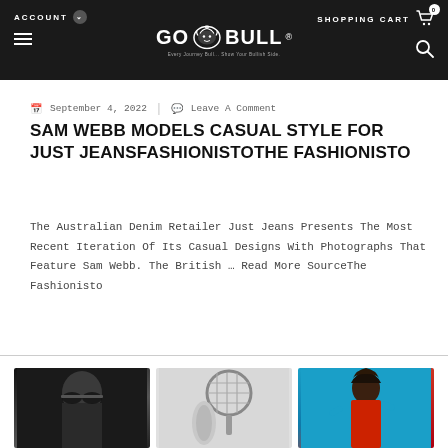ACCOUNT  GO BULL®  SHOPPING CART 0
September 4, 2022  |  Leave A Comment
SAM WEBB MODELS CASUAL STYLE FOR JUST JEANSFASHIONISTOTHE FASHIONISTO
The Australian Denim Retailer Just Jeans Presents The Most Recent Iteration Of Its Casual Designs With Photographs That Feature Sam Webb. The British ... Read More SourceThe Fashionisto
[Figure (photo): Three fashion thumbnail images at the bottom: a black-and-white close-up of a model in sunglasses, a black-and-white photo with a tennis racket, and a color photo of a model in red clothing against a blue background]